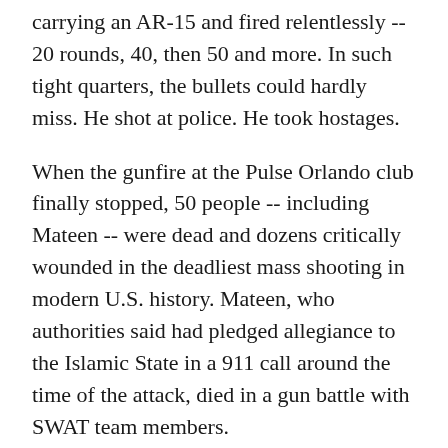carrying an AR-15 and fired relentlessly -- 20 rounds, 40, then 50 and more. In such tight quarters, the bullets could hardly miss. He shot at police. He took hostages.
When the gunfire at the Pulse Orlando club finally stopped, 50 people -- including Mateen -- were dead and dozens critically wounded in the deadliest mass shooting in modern U.S. history. Mateen, who authorities said had pledged allegiance to the Islamic State in a 911 call around the time of the attack, died in a gun battle with SWAT team members.
"I've always felt so safe here for my family, kids. And now, I don't know," said Marlon Massey, who lives across the street from the club.